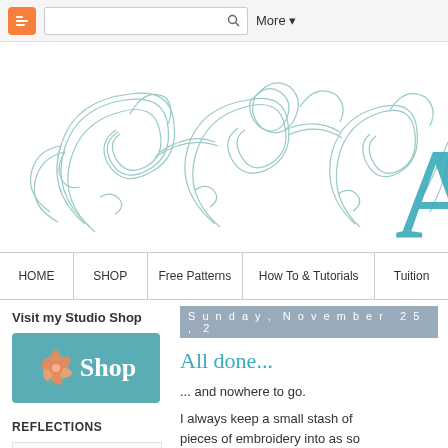Blogger navigation bar with search and More button
[Figure (illustration): Decorative ornamental header with teal/mint swirling floral and bird motifs forming a banner design]
HOME | SHOP | Free Patterns | How To & Tutorials | Tuition
Visit my Studio Shop
[Figure (illustration): Shop button with teal background, orange floral logo, and white text reading Shop]
REFLECTIONS
[Figure (other): Reflections widget placeholder box]
Sunday, November 25, 2
All done...
... and nowhere to go.
I always keep a small stash of pieces of embroidery into as so be perfect for my little 'doodle' p As I mentioned last week, I am blog) and I really, really wanted the computer) in short bursts o final details to the piece.